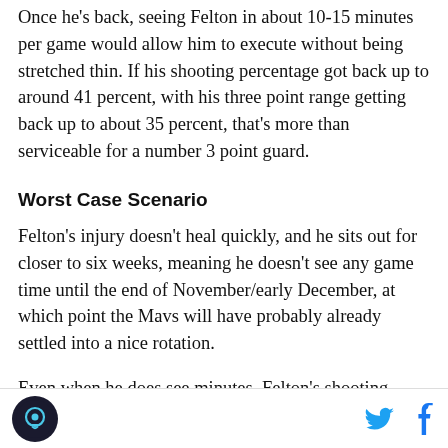Once he's back, seeing Felton in about 10-15 minutes per game would allow him to execute without being stretched thin. If his shooting percentage got back up to around 41 percent, with his three point range getting back up to about 35 percent, that's more than serviceable for a number 3 point guard.
Worst Case Scenario
Felton's injury doesn't heal quickly, and he sits out for closer to six weeks, meaning he doesn't see any game time until the end of November/early December, at which point the Mavs will have probably already settled into a nice rotation.
Even when he does see minutes, Felton's shooting